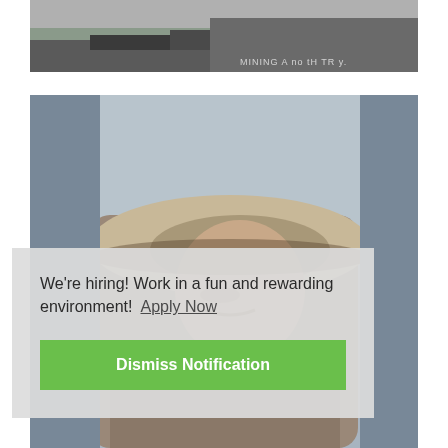[Figure (photo): Black and white historical photo of a mining area along a river with rocks and equipment. Text overlay reads 'MINING A... no tH TR... y.']
[Figure (photo): Black and white historical close-up portrait of a miner wearing a wide-brimmed hat, looking downward.]
We're hiring! Work in a fun and rewarding environment!  Apply Now
Dismiss Notification